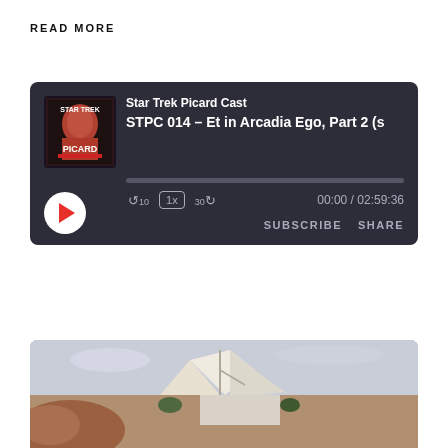READ MORE
[Figure (screenshot): Podcast player widget with dark background showing 'Star Trek Picard Cast' podcast, episode 'STPC 014 - Et in Arcadia Ego, Part 2 (s...', with play button, progress bar, rewind/speed/forward controls, time 00:00 / 02:59:36, SUBSCRIBE and SHARE buttons]
[Figure (photo): Exterior photo of a futuristic white building structure against a cloudy sky, with reddish rocky landscape]